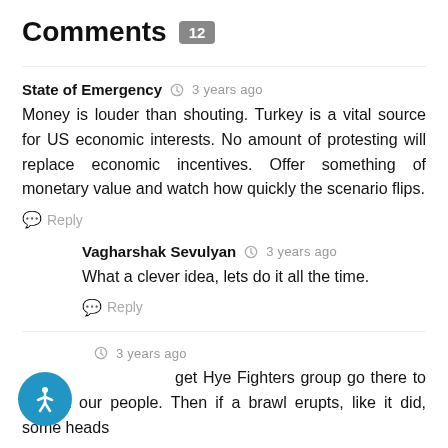Comments 12
State of Emergency  3 years ago
Money is louder than shouting. Turkey is a vital source for US economic interests. No amount of protesting will replace economic incentives. Offer something of monetary value and watch how quickly the scenario flips.
Reply
Vagharshak Sevulyan  3 years ago
What a clever idea, lets do it all the time.
Reply
3 years ago
get Hye Fighters group go there to protect our people. Then if a brawl erupts, like it did, some heads